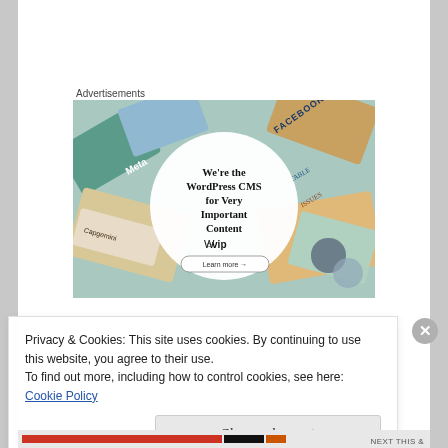Advertisements
[Figure (screenshot): WordPress VIP advertisement showing 'We're the WordPress CMS for Very Important Content' with a circular overlay on a background of colorful cards (Meta, Facebook, Capgemini, etc.). Includes WordPress VIP logo and 'Learn more' button.]
Privacy & Cookies: This site uses cookies. By continuing to use this website, you agree to their use.
To find out more, including how to control cookies, see here:
Cookie Policy
Close and accept